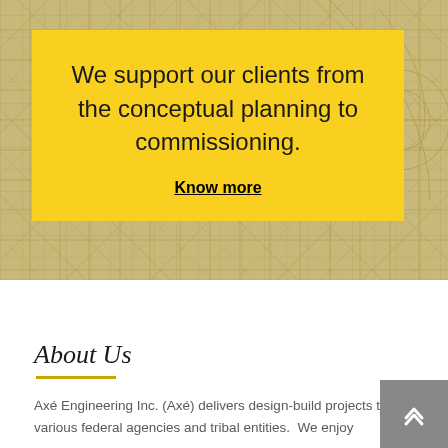[Figure (illustration): Engineering blueprint/schematic background with golden yellow overlay and grid pattern]
We support our clients from the conceptual planning to commissioning.
Know more
About Us
Axé Engineering Inc. (Axé) delivers design-build projects to various federal agencies and tribal entities.  We enjoy